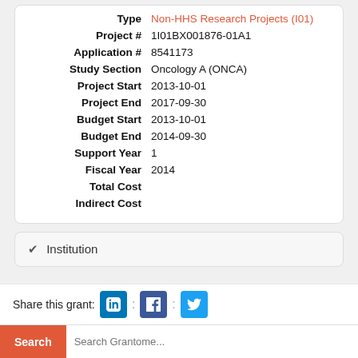| Field | Value |
| --- | --- |
| Type | Non-HHS Research Projects (I01) |
| Project # | 1I01BX001876-01A1 |
| Application # | 8541173 |
| Study Section | Oncology A (ONCA) |
| Project Start | 2013-10-01 |
| Project End | 2017-09-30 |
| Budget Start | 2013-10-01 |
| Budget End | 2014-09-30 |
| Support Year | 1 |
| Fiscal Year | 2014 |
| Total Cost |  |
| Indirect Cost |  |
Institution
Share this grant:
Name: Eastern Colorado Health
Search Grantome...
Department: